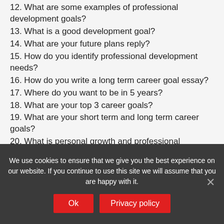12. What are some examples of professional development goals?
13. What is a good development goal?
14. What are your future plans reply?
15. How do you identify professional development needs?
16. How do you write a long term career goal essay?
17. Where do you want to be in 5 years?
18. What are your top 3 career goals?
19. What are your short term and long term career goals?
20. What is personal growth and professional
We use cookies to ensure that we give you the best experience on our website. If you continue to use this site we will assume that you are happy with it.